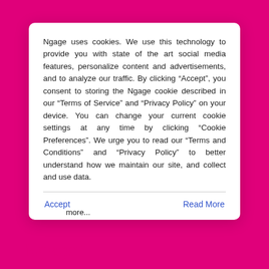Ngage uses cookies. We use this technology to provide you with state of the art social media features, personalize content and advertisements, and to analyze our traffic. By clicking “Accept”, you consent to storing the Ngage cookie described in our “Terms of Service” and “Privacy Policy” on your device. You can change your current cookie settings at any time by clicking “Cookie Preferences”. We urge you to read our “Terms and Conditions” and “Privacy Policy” to better understand how we maintain our site, and collect and use data.
Accept
Read More
more...
Ngage!